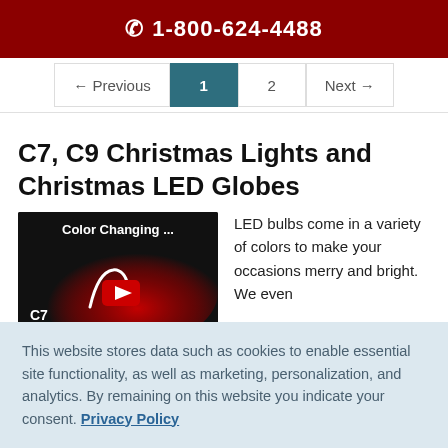1-800-624-4488
← Previous  1  2  Next →
C7, C9 Christmas Lights and Christmas LED Globes
[Figure (screenshot): Video thumbnail showing 'Color Changing ...' text with C7 label and YouTube play button on dark background with red gradient]
LED bulbs come in a variety of colors to make your occasions merry and bright. We even
This website stores data such as cookies to enable essential site functionality, as well as marketing, personalization, and analytics. By remaining on this website you indicate your consent. Privacy Policy